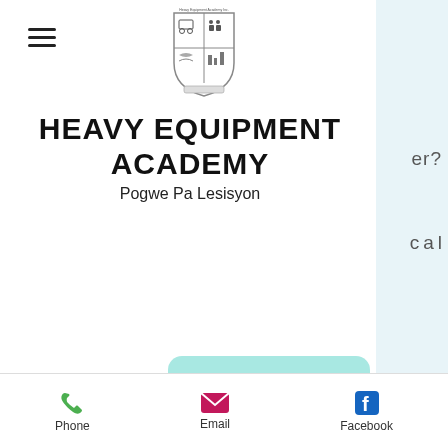[Figure (logo): Heavy Equipment Academy shield/crest logo with small text above]
HEAVY EQUIPMENT ACADEMY
Pogwe Pa Lesisyon
[Figure (other): Apply Now! button in teal/mint rounded rectangle]
6. Can you read and write at a 6th grade/Standard 4 level?
7. Are you prepared to work hard so you can achieve success and earn a decent income to care for yourself
Phone  Email  Facebook